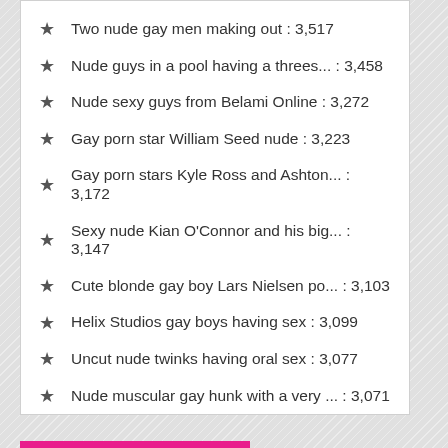Two nude gay men making out : 3,517
Nude guys in a pool having a threes... : 3,458
Nude sexy guys from Belami Online : 3,272
Gay porn star William Seed nude : 3,223
Gay porn stars Kyle Ross and Ashton... : 3,172
Sexy nude Kian O'Connor and his big... : 3,147
Cute blonde gay boy Lars Nielsen po... : 3,103
Helix Studios gay boys having sex : 3,099
Uncut nude twinks having oral sex : 3,077
Nude muscular gay hunk with a very ... : 3,071